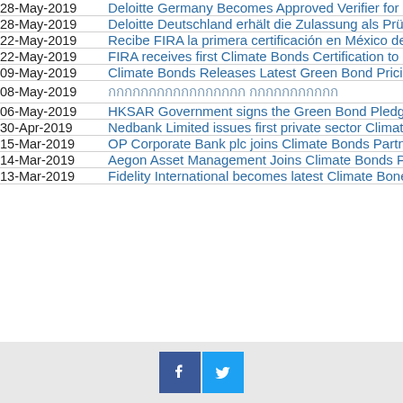| Date | Title |
| --- | --- |
| 28-May-2019 | Deloitte Germany Becomes Approved Verifier for… |
| 28-May-2019 | Deloitte Deutschland erhält die Zulassung als Prü… |
| 22-May-2019 | Recibe FIRA la primera certificación en México de… |
| 22-May-2019 | FIRA receives first Climate Bonds Certification to… |
| 09-May-2019 | Climate Bonds Releases Latest Green Bond Prici… |
| 08-May-2019 | กกกกกกกกกกกกกกกกก กกกกกกกกกกก |
| 06-May-2019 | HKSAR Government signs the Green Bond Pledg… |
| 30-Apr-2019 | Nedbank Limited issues first private sector Climat… |
| 15-Mar-2019 | OP Corporate Bank plc joins Climate Bonds Partn… |
| 14-Mar-2019 | Aegon Asset Management Joins Climate Bonds P… |
| 13-Mar-2019 | Fidelity International becomes latest Climate Bone… |
Social media icons: Facebook, Twitter